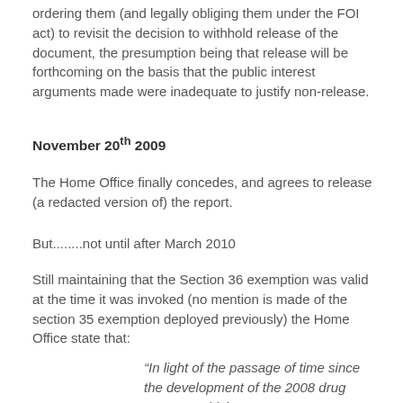ordering them (and legally obliging them under the FOI act) to revisit the decision to withhold release of the document, the presumption being that release will be forthcoming on the basis that the public interest arguments made were inadequate to justify non-release.
November 20th 2009
The Home Office finally concedes, and agrees to release (a redacted version of) the report.
But........not until after March 2010
Still maintaining that the Section 36 exemption was valid at the time it was invoked (no mention is made of the section 35 exemption deployed previously) the Home Office state that:
“In light of the passage of time since the development of the 2008 drug strategy, which